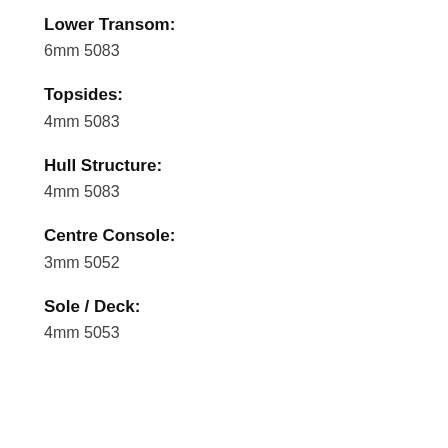Lower Transom:
6mm 5083
Topsides:
4mm 5083
Hull Structure:
4mm 5083
Centre Console:
3mm 5052
Sole / Deck:
4mm 5053